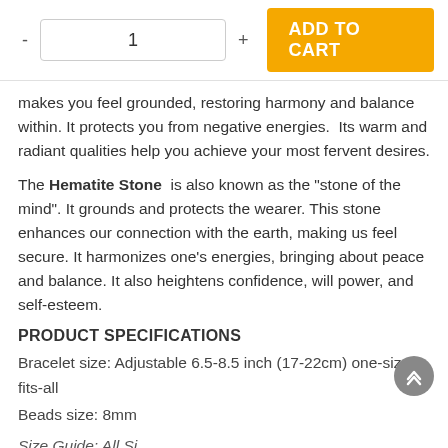[Figure (screenshot): E-commerce add to cart UI with quantity selector (minus, 1, plus) and orange ADD TO CART button]
makes you feel grounded, restoring harmony and balance within. It protects you from negative energies.  Its warm and radiant qualities help you achieve your most fervent desires.
The Hematite Stone  is also known as the "stone of the mind". It grounds and protects the wearer. This stone enhances our connection with the earth, making us feel secure. It harmonizes one's energies, bringing about peace and balance. It also heightens confidence, will power, and self-esteem.
PRODUCT SPECIFICATIONS
Bracelet size: Adjustable 6.5-8.5 inch (17-22cm) one-size-fits-all
Beads size: 8mm
Size Guide: All Si...